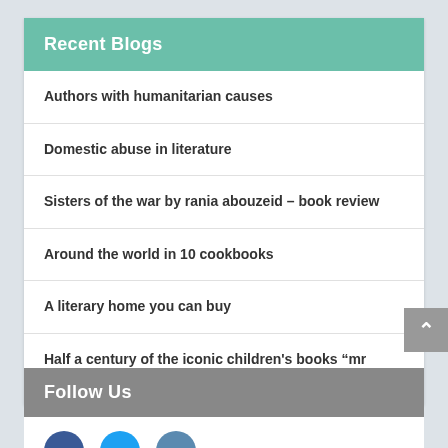Recent Blogs
Authors with humanitarian causes
Domestic abuse in literature
Sisters of the war by rania abouzeid – book review
Around the world in 10 cookbooks
A literary home you can buy
Half a century of the iconic children's books “mr men”
Follow Us